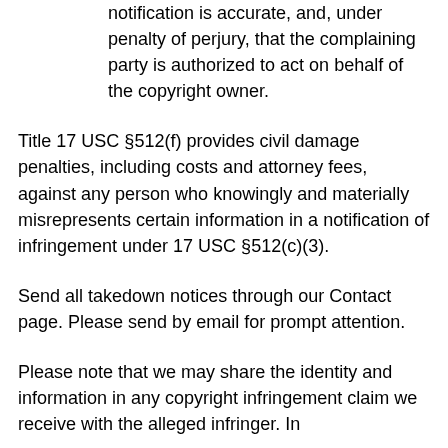notification is accurate, and, under penalty of perjury, that the complaining party is authorized to act on behalf of the copyright owner.
Title 17 USC §512(f) provides civil damage penalties, including costs and attorney fees, against any person who knowingly and materially misrepresents certain information in a notification of infringement under 17 USC §512(c)(3).
Send all takedown notices through our Contact page. Please send by email for prompt attention.
Please note that we may share the identity and information in any copyright infringement claim we receive with the alleged infringer. In